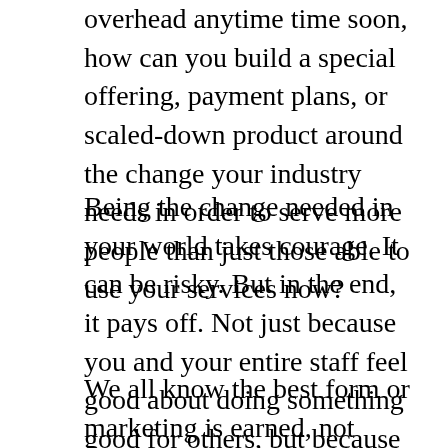overhead anytime time soon, how can you build a special offering, payment plans, or scaled-down product around the change your industry needs in order to serve more people than just those able to use your services now?
Being the change needed in your world takes courage. It can be risky. But in the end, it pays off. Not just because you and your entire staff feel good about doing something good for others, but because you will also see the dividends.
We all know the best form or marketing is earned, not paid. And there is no price you can put on the kind of comments my Facebook